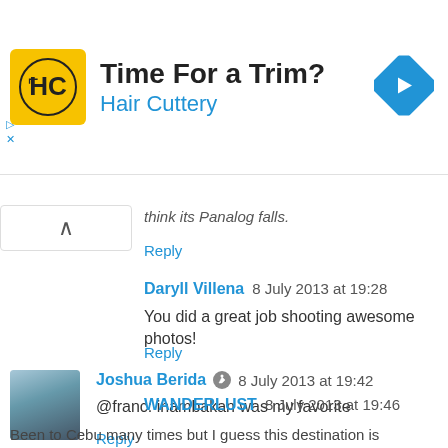[Figure (other): Hair Cuttery advertisement banner with yellow HC logo, text 'Time For a Trim?' and 'Hair Cuttery', blue diamond arrow icon on right]
think its Panalog fails.
Reply
Daryll Villena 8 July 2013 at 19:28
You did a great job shooting awesome photos!
Reply
Joshua Berida 8 July 2013 at 19:42
@franc: inambakan was my favorite
Reply
WANDERLUST 8 July 2013 at 19:46
Been to Cebu many times but I guess this destination is